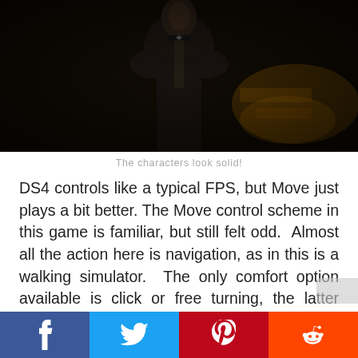[Figure (photo): Dark screenshot from a video game showing a male character in formal attire (suit/tuxedo) in a dimly lit indoor setting with warm amber lighting in the background.]
The characters look solid!
DS4 controls like a typical FPS, but Move just plays a bit better. The Move control scheme in this game is familiar, but still felt odd.  Almost all the action here is navigation, as in this is a walking simulator.  The only comfort option available is click or free turning, the latter which I almost always prefer.  This is, I believe the 2nd game where I opted for click turning as, in order to free turn, you need to sort of wave your hand in the